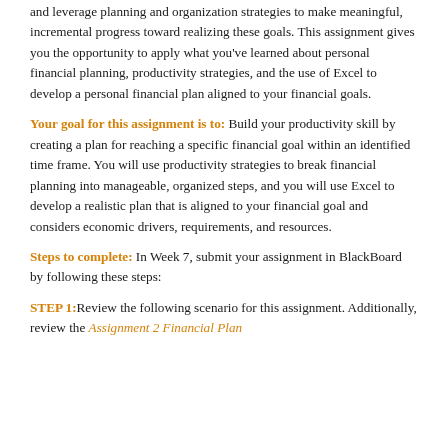and leverage planning and organization strategies to make meaningful, incremental progress toward realizing these goals. This assignment gives you the opportunity to apply what you've learned about personal financial planning, productivity strategies, and the use of Excel to develop a personal financial plan aligned to your financial goals.
Your goal for this assignment is to: Build your productivity skill by creating a plan for reaching a specific financial goal within an identified time frame. You will use productivity strategies to break financial planning into manageable, organized steps, and you will use Excel to develop a realistic plan that is aligned to your financial goal and considers economic drivers, requirements, and resources.
Steps to complete: In Week 7, submit your assignment in BlackBoard by following these steps:
STEP 1: Review the following scenario for this assignment. Additionally, review the Assignment 2 Financial Plan